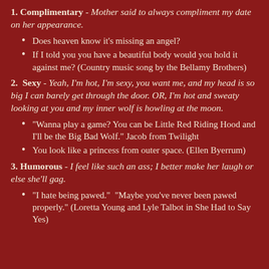1. Complimentary - Mother said to always compliment my date on her appearance.
Does heaven know it's missing an angel?
If I told you you have a beautiful body would you hold it against me? (Country music song by the Bellamy Brothers)
2. Sexy - Yeah, I'm hot, I'm sexy, you want me, and my head is so big I can barely get through the door. OR, I'm hot and sweaty looking at you and my inner wolf is howling at the moon.
"Wanna play a game? You can be Little Red Riding Hood and I'll be the Big Bad Wolf." Jacob from Twilight
You look like a princess from outer space. (Ellen Byerrum)
3. Humorous - I feel like such an ass; I better make her laugh or else she'll gag.
"I hate being pawed."  "Maybe you've never been pawed properly." (Loretta Young and Lyle Talbot in She Had to Say Yes)